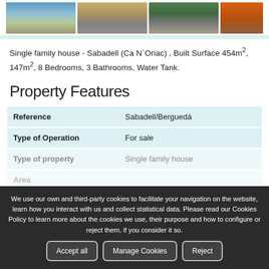[Figure (photo): Four property photos in a horizontal strip: exterior aerial view with sky, aerial/street view, green courtyard/street, orange facade close-up]
Single family house - Sabadell (Ca N´Oriac) , Built Surface 454m², 147m², 8 Bedrooms, 3 Bathrooms, Water Tank.
Property Features
|  |  |
| --- | --- |
| Reference | Sabadell/Berguedá |
| Type of Operation | For sale |
| Type of property | Single family house |
| Area |  |
| Condition |  |
We use our own and third-party cookies to facilitate your navigation on the website, learn how you interact with us and collect statistical data. Please read our Cookies Policy to learn more about the cookies we use, their purpose and how to configure or reject them, if you consider it so.
QUESTION?
Condition